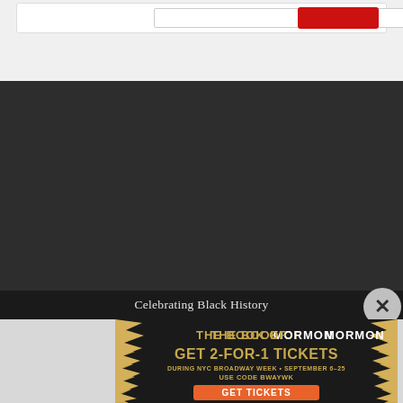[Figure (screenshot): Top portion of a web page showing a white card with an input field and a red button on a light gray background]
[Figure (screenshot): Dark/black video player or content area filling the middle of the page]
Celebrating Black History
[Figure (infographic): Advertisement for 'The Book of Mormon' musical showing gold starburst design on black background with offer: GET 2-FOR-1 TICKETS DURING NYC BROADWAY WEEK • SEPTEMBER 6-25, USE CODE BWAYWK, GET TICKETS button in orange]